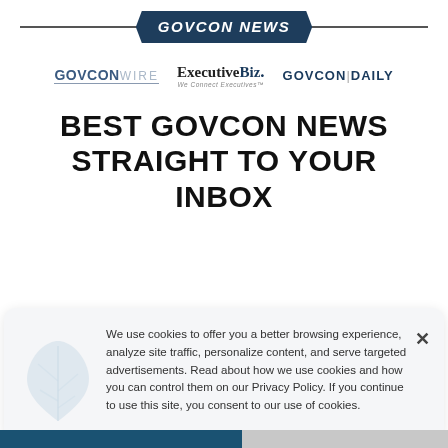GOVCON NEWS
[Figure (logo): Three logos in a row: GOVCONWIRE, ExecutiveBiz. (We Connect Executives), GOVCON|DAILY]
BEST GOVCON NEWS STRAIGHT TO YOUR INBOX
[Figure (other): Subscribe Now button with cursor hand icon]
We use cookies to offer you a better browsing experience, analyze site traffic, personalize content, and serve targeted advertisements. Read about how we use cookies and how you can control them on our Privacy Policy. If you continue to use this site, you consent to our use of cookies.